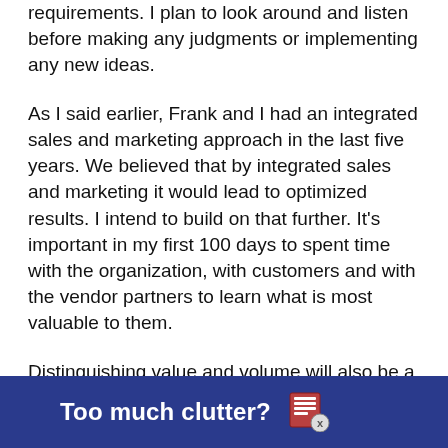requirements. I plan to look around and listen before making any judgments or implementing any new ideas.
As I said earlier, Frank and I had an integrated sales and marketing approach in the last five years. We believed that by integrated sales and marketing it would lead to optimized results. I intend to build on that further. It’s important in my first 100 days to spent time with the organization, with customers and with the vendor partners to learn what is most valuable to them.
Distinguishing value and volume will also be a big priority. We intend to make more investments in both
[Figure (other): Dark blue advertisement banner at bottom of page reading 'Too much clutter?' with a newspaper/document icon and a close button (x) on the right.]